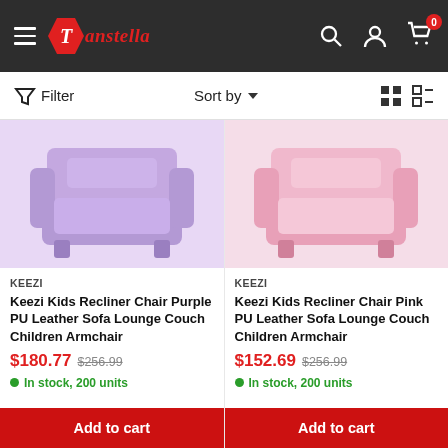Tanstella — navigation header with hamburger menu, logo, search, account, and cart icons
Filter   Sort by   (grid and list view icons)
[Figure (photo): Purple PU leather kids recliner armchair sofa, viewed from front-left angle]
KEEZI
Keezi Kids Recliner Chair Purple PU Leather Sofa Lounge Couch Children Armchair
$180.77  $256.99
In stock, 200 units
Add to cart
[Figure (photo): Pink PU leather kids recliner armchair sofa, viewed from front-left angle]
KEEZI
Keezi Kids Recliner Chair Pink PU Leather Sofa Lounge Couch Children Armchair
$152.69  $256.99
In stock, 200 units
Add to cart